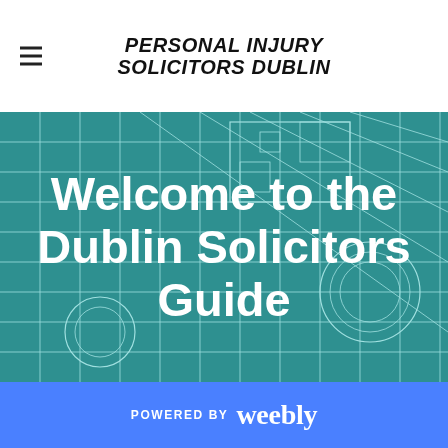PERSONAL INJURY SOLICITORS DUBLIN
[Figure (illustration): Teal/green background hero image with semi-transparent blueprint/architectural line drawing overlay showing building plans and grid. Large white bold text reads 'Welcome to the Dublin Solicitors Guide'.]
Welcome to the Dublin Solicitors Guide
POWERED BY weebly